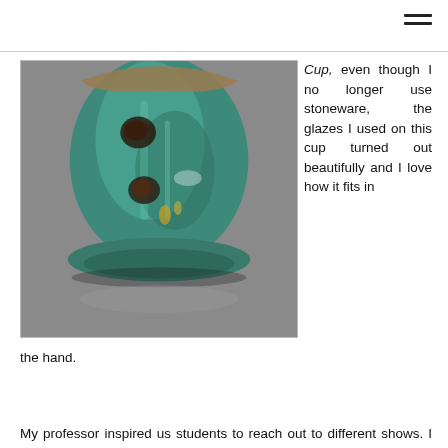[Figure (photo): Close-up photograph of a ceramic stoneware cup with teal/green glaze, dark speckles suggesting embedded organic material, and a wide foot ring. The background is grey.]
Cup, even though I no longer use stoneware, the glazes I used on this cup turned out beautifully and I love how it fits in the hand.
My professor inspired us students to reach out to different shows. I make a lot of drinking vessels so when I saw the call for this show I felt like I’d be a